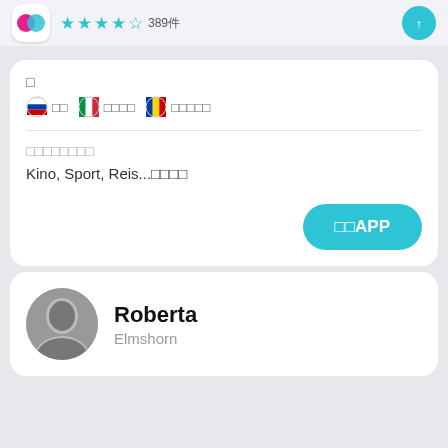[Figure (screenshot): App icon with pink/teal design, star rating 4.5 stars with 389 reviews, and teal get button]
□
🇷🇺 □□  🇮🇹 □□□□  🇷🇴 □□□□□
□□□□□□□□
Kino, Sport, Reis...□□□□
□□APP
Roberta
Elmshorn